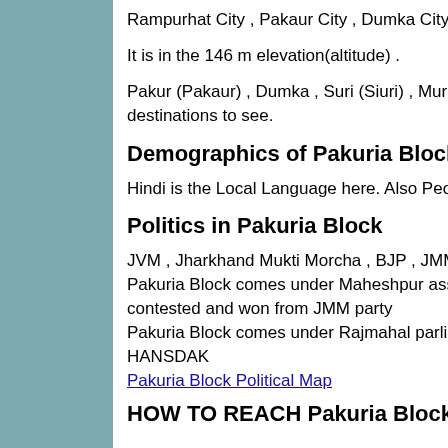Rampurhat City , Pakaur City , Dumka City , Suri City are the nearby Cities to Pakuria.
It is in the 146 m elevation(altitude) .
Pakur (Pakaur) , Dumka , Suri (Siuri) , Murshidabad , Santiniketan are the near by Important tourist destinations to see.
Demographics of Pakuria Block
Hindi is the Local Language here. Also People Speaks Santali .
Politics in Pakuria Block
JVM , Jharkhand Mukti Morcha , BJP , JMM are the major political parties in this area.
Pakuria Block comes under Maheshpur assembly constituency ,current sitting MLA is STEPHEN MARANDI contested and won from JMM party
Pakuria Block comes under Rajmahal parliament constituency ,current sitting MP is VIJAY KUMAR HANSDAK
Pakuria Block Political Map
HOW TO REACH Pakuria Block